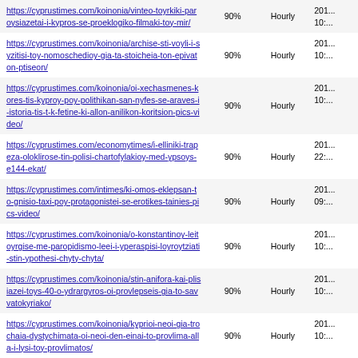| URL | Priority | Change Freq | Last Modified |
| --- | --- | --- | --- |
| https://cyprustimes.com/koinonia/vinteo-toyrkiki-paroysiazetai-i-kypros-se-proeklogiko-filmaki-toy-mir/ | 90% | Hourly | 201... 10:... |
| https://cyprustimes.com/koinonia/archise-sti-voyli-i-syzitisi-toy-nomoschedioy-gia-ta-stoicheia-ton-epivaton-ptiseon/ | 90% | Hourly | 201... 10:... |
| https://cyprustimes.com/koinonia/oi-xechasmenes-kores-tis-kyproy-poy-polithikan-san-nyfes-se-araves-i-istoria-tis-t-k-fetine-ki-allon-anilikon-koritsion-pics-video/ | 90% | Hourly | 201... 10:... |
| https://cyprustimes.com/economytimes/i-elliniki-trapeza-oloklirose-tin-polisi-chartofylakioy-med-ypsoys-e144-ekat/ | 90% | Hourly | 201... 22:... |
| https://cyprustimes.com/intimes/ki-omos-eklepsan-to-gnisio-taxi-poy-protagonistei-se-erotikes-tainies-pics-video/ | 90% | Hourly | 201... 09:... |
| https://cyprustimes.com/koinonia/o-konstantinoy-leitoyrgise-me-paropidismo-leei-i-yperaspisi-loyroytziati-stin-ypothesi-chyty-chyta/ | 90% | Hourly | 201... 10:... |
| https://cyprustimes.com/koinonia/stin-anifora-kai-plisiazei-toys-40-o-ydrargyros-oi-provlepseis-gia-to-savvatokyriako/ | 90% | Hourly | 201... 10:... |
| https://cyprustimes.com/koinonia/kyprioi-neoi-gia-trochaia-dystychimata-oi-neoi-den-einai-to-provlima-alla-i-lysi-toy-provlimatos/ | 90% | Hourly | 201... 10:... |
| https://cyprustimes.com/ellada/anatropi-sti-sokaristiki-ypothesi-tis-leroy-o-iatrodikastis-den-diapistonei-sexoyaliki-kakopoiisi-sta-paidia/ | 90% | Hourly | 201... 10:... |
| https://cyprustimes.com/ygeianews/vretaniki-ereyna-... | 90% | Hourly | 201... |